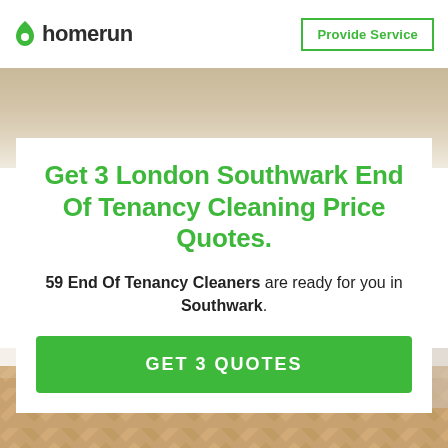homerun | Provide Service
[Figure (photo): Interior room photo showing a beige/tan wall at the top and a light wood herringbone floor at the bottom, forming the hero background image.]
Get 3 London Southwark End Of Tenancy Cleaning Price Quotes.
59 End Of Tenancy Cleaners are ready for you in Southwark.
GET 3 QUOTES